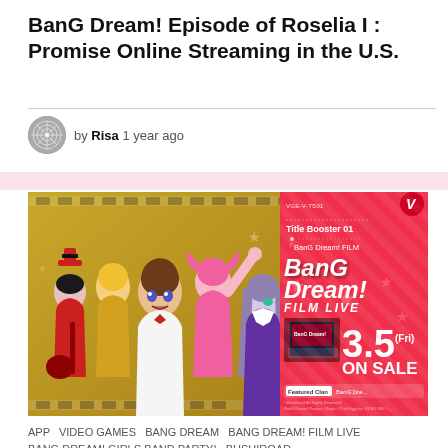BanG Dream! Episode of Roselia I : Promise Online Streaming in the U.S.
by Risa 1 year ago
[Figure (photo): Anime promotional image showing BanG Dream characters on gold background (left) and a BanG Dream! FILM LIVE trading card booster pack advertisement on pink/red background (right) showing 'Title Booster 01', 'BanG Dream! FILM LIVE' logo, '3.5 (Fri) ON SALE', 'Featured Clan BanG Dre...' text.]
APP  VIDEO GAMES  BANG DREAM  BANG DREAM! FILM LIVE  BANG DREAM! GIRLS BAND PARTY!  BUSHIROAD